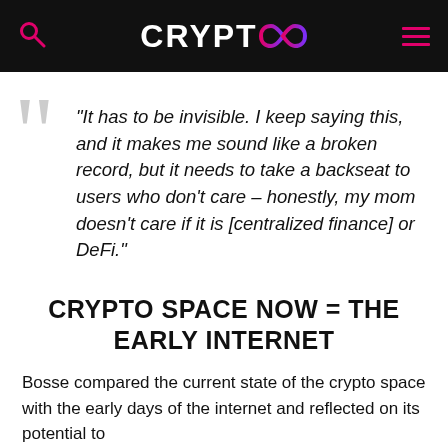CRYPTOCO
“It has to be invisible. I keep saying this, and it makes me sound like a broken record, but it needs to take a backseat to users who don’t care – honestly, my mom doesn’t care if it is [centralized finance] or DeFi.”
CRYPTO SPACE NOW = THE EARLY INTERNET
Bosse compared the current state of the crypto space with the early days of the internet and reflected on its potential to